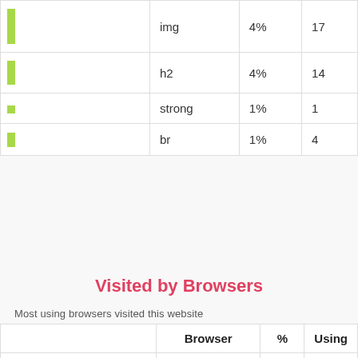|  |  | % | Using |
| --- | --- | --- | --- |
| [bar] | img | 4% | 17 |
| [bar] | h2 | 4% | 14 |
| [bar] | strong | 1% | 1 |
| [bar] | br | 1% | 4 |
Visited by Browsers
Most using browsers visited this website
|  | Browser | % | Using |
| --- | --- | --- | --- |
| [bar] | Chrome | 28% | 6 |
| [bar] | Internet Explorer | 19% | 4 |
| [bar] | Firefox | 10% | 2 |